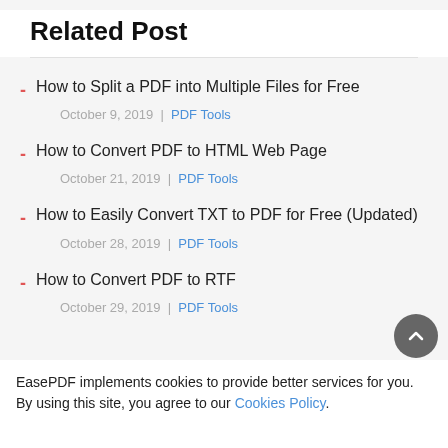Related Post
How to Split a PDF into Multiple Files for Free
October 9, 2019 | PDF Tools
How to Convert PDF to HTML Web Page
October 21, 2019 | PDF Tools
How to Easily Convert TXT to PDF for Free (Updated)
October 28, 2019 | PDF Tools
How to Convert PDF to RTF
October 29, 2019 | PDF Tools
EasePDF implements cookies to provide better services for you. By using this site, you agree to our Cookies Policy.